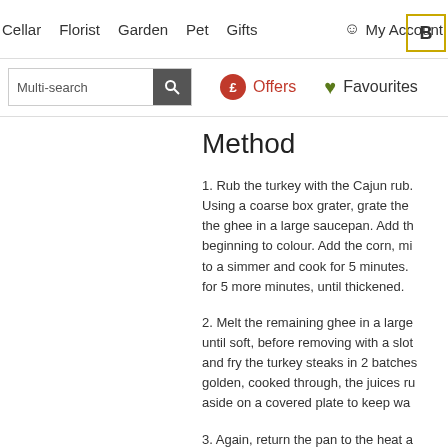Cellar  Florist  Garden  Pet  Gifts  My Account
Multi-search  £ Offers  ♥ Favourites
Method
1. Rub the turkey with the Cajun rub. Using a coarse box grater, grate the the ghee in a large saucepan. Add th beginning to colour. Add the corn, mi to a simmer and cook for 5 minutes. for 5 more minutes, until thickened.
2. Melt the remaining ghee in a large until soft, before removing with a slot and fry the turkey steaks in 2 batches golden, cooked through, the juices ru aside on a covered plate to keep wa
3. Again, return the pan to the heat a water, cover and fry for about 5 minu season. Once plated, sprinkle over